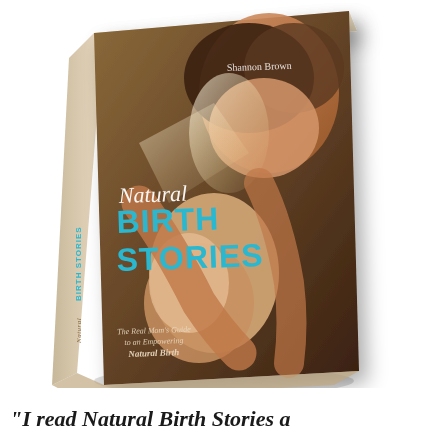[Figure (illustration): A 3D rendered book titled 'Natural Birth Stories' by Shannon Brown. The book cover shows a mother holding a newborn baby against a warm brown background. The cover displays the title 'Natural BIRTH STORIES' in cyan/teal letters, with subtitle 'The Real Mom's Guide to an Empowering Natural Birth'. The book spine shows 'Natural BIRTH STORIES' text. The book is shown in a three-quarter perspective view with a slight shadow.]
“I read Natural Birth Stories a